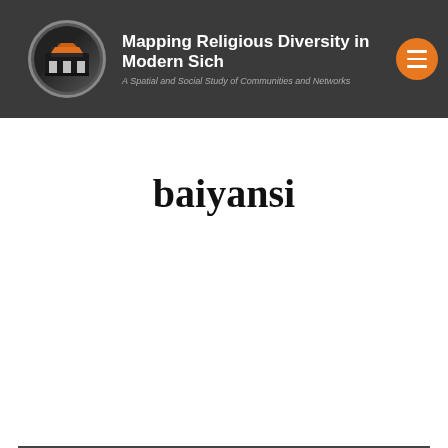Mapping Religious Diversity in Modern Sich — A Spatial and Social Study of Communities and Networks
baiyansi